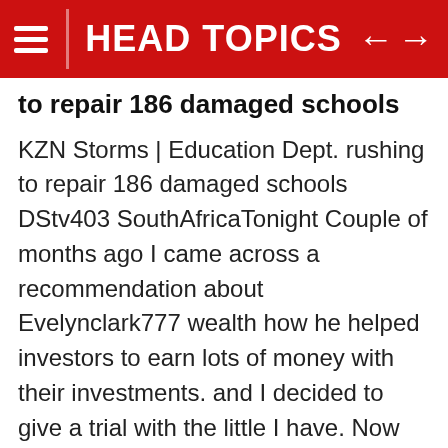HEAD TOPICS
to repair 186 damaged schools
KZN Storms | Education Dept. rushing to repair 186 damaged schools DStv403 SouthAfricaTonight Couple of months ago I came across a recommendation about Evelynclark777 wealth how he helped investors to earn lots of money with their investments. and I decided to give a trial with the little I have. Now my little has turned into something great. I want to share this because i want others to benefit from this opportunity that Dpurplewomanfx gave to me i made R40,750 profit today. I strongly